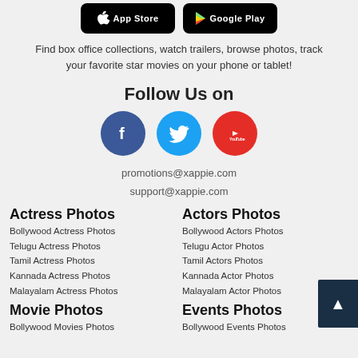[Figure (screenshot): App Store and Google Play download buttons]
Find box office collections, watch trailers, browse photos, track your favorite star movies on your phone or tablet!
Follow Us on
[Figure (infographic): Social media icons: Facebook (blue circle), Twitter (light blue circle), YouTube (red circle)]
promotions@xappie.com
support@xappie.com
Actress Photos
Bollywood Actress Photos
Telugu Actress Photos
Tamil Actress Photos
Kannada Actress Photos
Malayalam Actress Photos
Movie Photos
Bollywood Movies Photos
Actors Photos
Bollywood Actors Photos
Telugu Actor Photos
Tamil Actors Photos
Kannada Actor Photos
Malayalam Actor Photos
Events Photos
Bollywood Events Photos